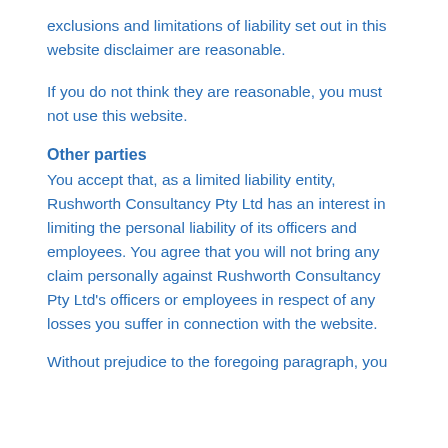exclusions and limitations of liability set out in this website disclaimer are reasonable.
If you do not think they are reasonable, you must not use this website.
Other parties
You accept that, as a limited liability entity, Rushworth Consultancy Pty Ltd has an interest in limiting the personal liability of its officers and employees. You agree that you will not bring any claim personally against Rushworth Consultancy Pty Ltd's officers or employees in respect of any losses you suffer in connection with the website.
Without prejudice to the foregoing paragraph, you